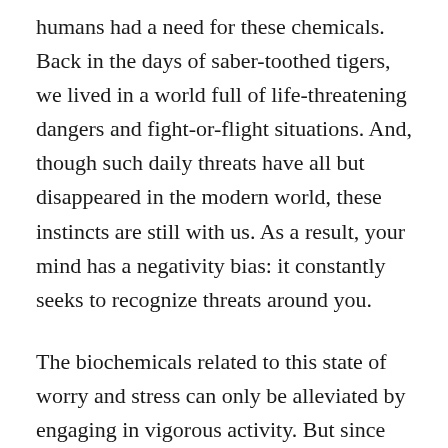humans had a need for these chemicals. Back in the days of saber-toothed tigers, we lived in a world full of life-threatening dangers and fight-or-flight situations. And, though such daily threats have all but disappeared in the modern world, these instincts are still with us. As a result, your mind has a negativity bias: it constantly seeks to recognize threats around you.
The biochemicals related to this state of worry and stress can only be alleviated by engaging in vigorous activity. But since we're no longer being